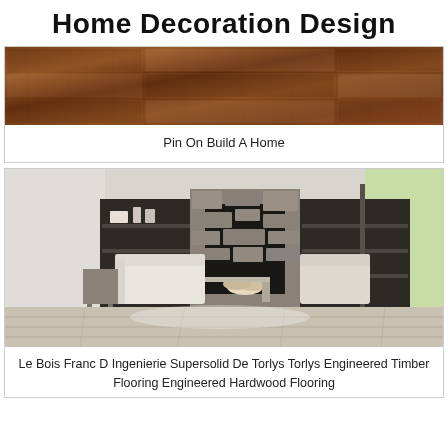Home Decoration Design
[Figure (photo): Close-up of brown wooden wall panels with geometric relief pattern]
Pin On Build A Home
[Figure (photo): Modern living room with stone fireplace, built-in shelves, neutral sofas, and wide-plank hardwood flooring]
Le Bois Franc D Ingenierie Supersolid De Torlys Torlys Engineered Timber Flooring Engineered Hardwood Flooring